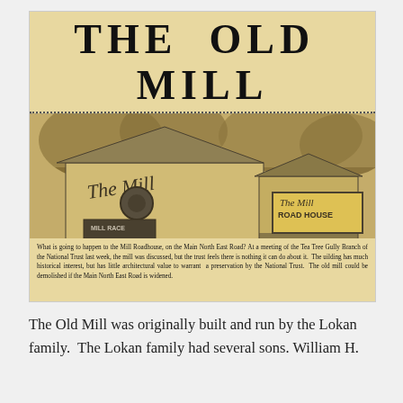[Figure (photo): Newspaper clipping titled 'THE OLD MILL' showing a sepia-toned photograph of The Mill Road House building with signage, trees in background. Caption text below the photo reads: 'What is going to happen to the Mill Roadhouse, on the Main North East Road? At a meeting of the Tea Tree Gully Branch of the National Trust last week, the mill was discussed, but the trust feels there is nothing it can do about it. The uilding has much historical interest, but has little architectural value to warrant a preservation by the National Trust. The old mill could be demolished if the Main North East Road is widened.']
The Old Mill was originally built and run by the Lokan family.  The Lokan family had several sons. William H.